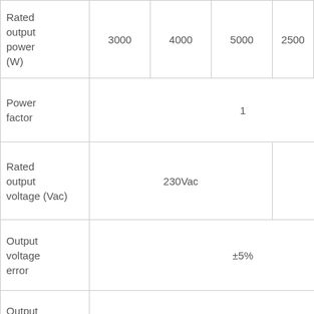| Parameter | Values (merged) |
| --- | --- |
| Rated output power (W) | 3000  4000  5000  2500  3000  3500 |
| Power factor | 1 |
| Rated output voltage (Vac) | 230Vac  |  120Vac |
| Output voltage error | ±5% |
| Output frequency range (Hz) | 50Hz ± 0.3Hz
60Hz ± 0.3Hz |